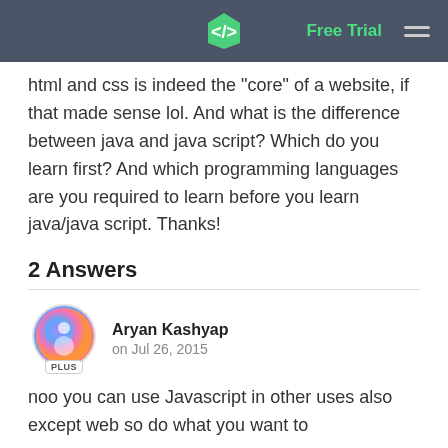Free Trial
html and css is indeed the "core" of a website, if that made sense lol. And what is the difference between java and java script? Which do you learn first? And which programming languages are you required to learn before you learn java/java script. Thanks!
2 Answers
Aryan Kashyap
on Jul 26, 2015
noo you can use Javascript in other uses also except web so do what you want to
Luqman Shah
on Jul 26, 2015